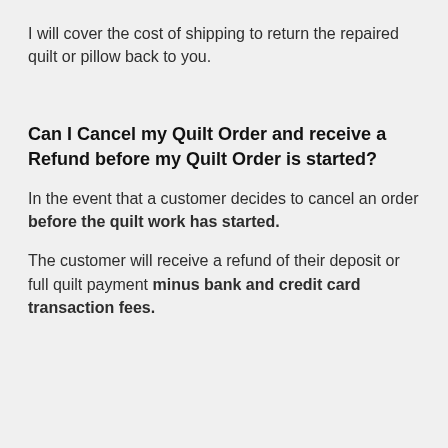I will cover the cost of shipping to return the repaired quilt or pillow back to you.
Can I Cancel my Quilt Order and receive a Refund before my Quilt Order is started?
In the event that a customer decides to cancel an order before the quilt work has started.
The customer will receive a refund of their deposit or full quilt payment minus bank and credit card transaction fees.